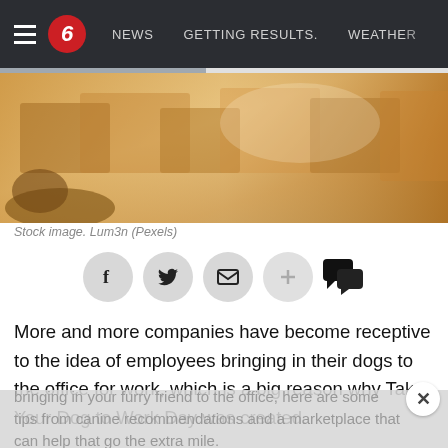NEWS  GETTING RESULTS.  WEATHER
[Figure (photo): Stock photo of cardboard boxes, warm golden-brown tones, shallow depth of field]
Stock image. Lum3n (Pexels)
[Figure (other): Social sharing icons row: Facebook, Twitter, Email, Plus, Comments]
More and more companies have become receptive to the idea of employees bringing in their dogs to the office for work, which is a big reason why Take Your Dog to Work Day was created.
This year's annual occasion is on Friday, but before bringing in your furry friend to the office, here are some tips from canine recommendations and a marketplace that can help that go the extra mile.